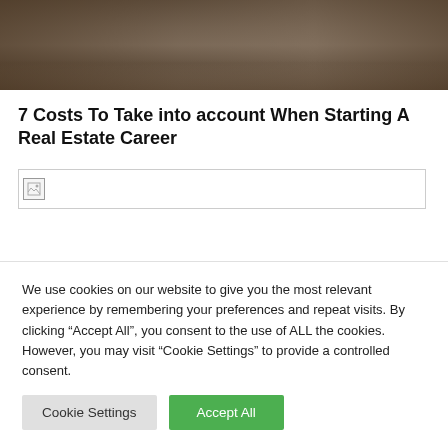[Figure (photo): Street scene photo showing a commercial building facade with trees and pedestrians]
7 Costs To Take into account When Starting A Real Estate Career
[Figure (photo): Broken/unloaded image placeholder]
We use cookies on our website to give you the most relevant experience by remembering your preferences and repeat visits. By clicking “Accept All”, you consent to the use of ALL the cookies. However, you may visit "Cookie Settings" to provide a controlled consent.